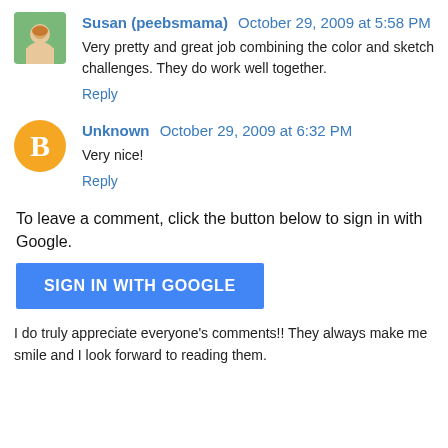Susan (peebsmama) October 29, 2009 at 5:58 PM
Very pretty and great job combining the color and sketch challenges. They do work well together.
Reply
Unknown October 29, 2009 at 6:32 PM
Very nice!
Reply
To leave a comment, click the button below to sign in with Google.
[Figure (other): SIGN IN WITH GOOGLE button]
I do truly appreciate everyone’s comments!! They always make me smile and I look forward to reading them.